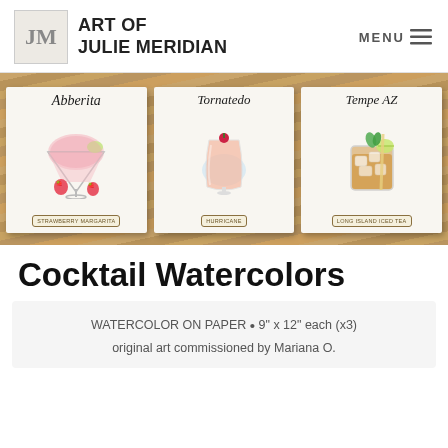ART OF JULIE MERIDIAN | MENU
[Figure (photo): Photo of three watercolor art cards on a wooden surface. Left card shows 'Abberita' (Strawberry Margarita), middle card shows 'Tornatedo' (Hurricane), right card shows 'Tempe AZ' (Long Island Iced Tea). Each card has a hand-lettered title and a cocktail illustration.]
Cocktail Watercolors
WATERCOLOR ON PAPER • 9" x 12" each (x3)
original art commissioned by Mariana O.